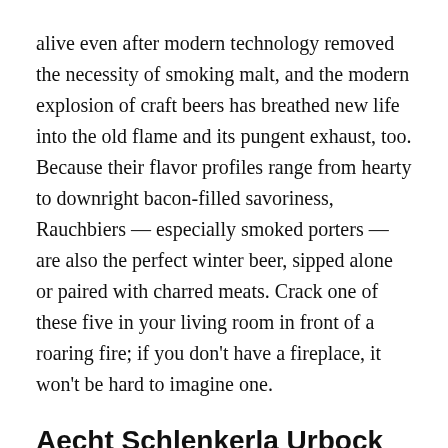alive even after modern technology removed the necessity of smoking malt, and the modern explosion of craft beers has breathed new life into the old flame and its pungent exhaust, too. Because their flavor profiles range from hearty to downright bacon-filled savoriness, Rauchbiers — especially smoked porters — are also the perfect winter beer, sipped alone or paired with charred meats. Crack one of these five in your living room in front of a roaring fire; if you don't have a fireplace, it won't be hard to imagine one.
Aecht Schlenkerla Urbock